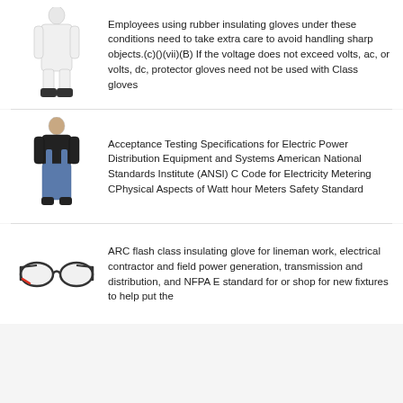[Figure (illustration): Person in white full-body protective suit and black boots]
Employees using rubber insulating gloves under these conditions need to take extra care to avoid handling sharp objects.(c)()(vii)(B) If the voltage does not exceed volts, ac, or volts, dc, protector gloves need not be used with Class gloves
[Figure (illustration): Person in black top and blue overalls/bib pants with black shoes]
Acceptance Testing Specifications for Electric Power Distribution Equipment and Systems American National Standards Institute (ANSI) C Code for Electricity Metering CPhysical Aspects of Watt hour Meters Safety Standard
[Figure (illustration): Safety glasses/goggles with black frame and clear lenses]
ARC flash class insulating glove for lineman work, electrical contractor and field power generation, transmission and distribution, and NFPA E standard for or shop for new fixtures to help put the